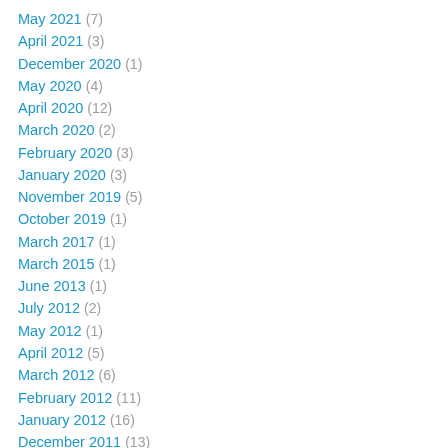May 2021 (7)
April 2021 (3)
December 2020 (1)
May 2020 (4)
April 2020 (12)
March 2020 (2)
February 2020 (3)
January 2020 (3)
November 2019 (5)
October 2019 (1)
March 2017 (1)
March 2015 (1)
June 2013 (1)
July 2012 (2)
May 2012 (1)
April 2012 (5)
March 2012 (6)
February 2012 (11)
January 2012 (16)
December 2011 (13)